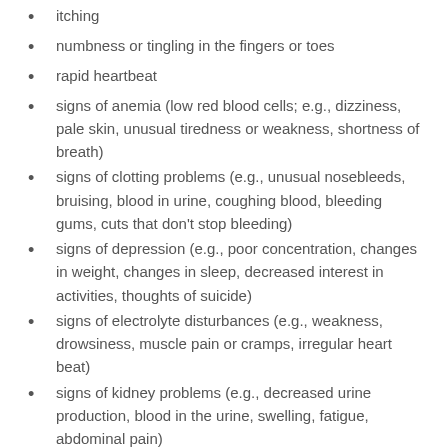itching
numbness or tingling in the fingers or toes
rapid heartbeat
signs of anemia (low red blood cells; e.g., dizziness, pale skin, unusual tiredness or weakness, shortness of breath)
signs of clotting problems (e.g., unusual nosebleeds, bruising, blood in urine, coughing blood, bleeding gums, cuts that don’t stop bleeding)
signs of depression (e.g., poor concentration, changes in weight, changes in sleep, decreased interest in activities, thoughts of suicide)
signs of electrolyte disturbances (e.g., weakness, drowsiness, muscle pain or cramps, irregular heart beat)
signs of kidney problems (e.g., decreased urine production, blood in the urine, swelling, fatigue, abdominal pain)